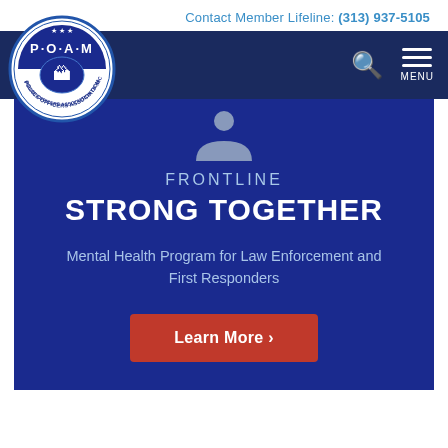Contact Member Lifeline: (313) 937-5105
[Figure (logo): POAM - Police Officers Association of Michigan circular logo with blue and white design showing Michigan state outline]
FRONTLINE STRONG TOGETHER
Mental Health Program for Law Enforcement and First Responders
Learn More ›